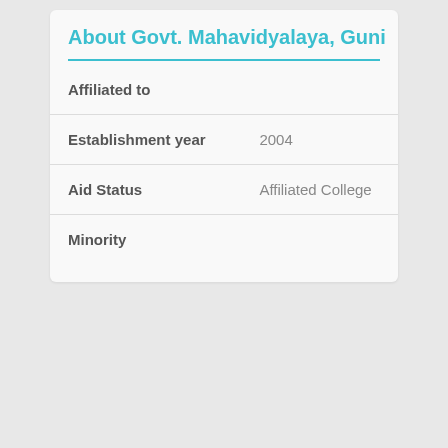About Govt. Mahavidyalaya, Guni
| Field | Value |
| --- | --- |
| Affiliated to |  |
| Establishment year | 2004 |
| Aid Status | Affiliated College |
| Minority |  |